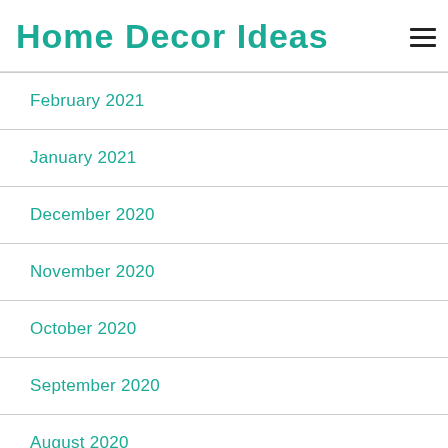Home Decor Ideas
February 2021
January 2021
December 2020
November 2020
October 2020
September 2020
August 2020
July 2020
June 2020
May 2020
April 2020